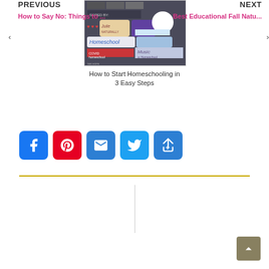[Figure (illustration): Thumbnail image related to homeschooling resources - shows various homeschool logos and labels on a chalkboard background]
How to Start Homeschooling in 3 Easy Steps
[Figure (infographic): Social share buttons: Facebook, Pinterest, Email, Twitter, Share]
PREVIOUS
‹ How to Say No: Things to ...
NEXT
Best Educational Fall Natu... ›